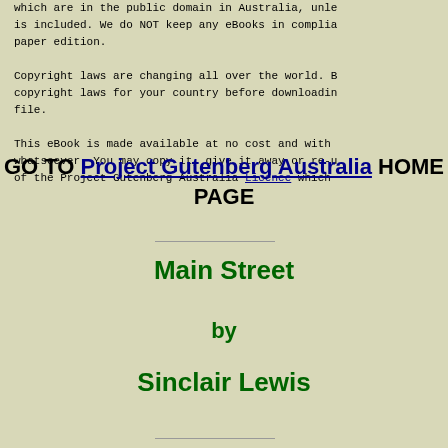which are in the public domain in Australia, unless a copyright notice is included. We do NOT keep any eBooks in compliance with a paper edition.
Copyright laws are changing all over the world. Be sure to check the copyright laws for your country before downloading or redistributing this file.
This eBook is made available at no cost and with almost no restrictions whatsoever. You may copy it, give it away or re-use it under the terms of the Project Gutenberg Australia Licence which ...
GO TO Project Gutenberg Australia HOME PAGE
Main Street
by
Sinclair Lewis